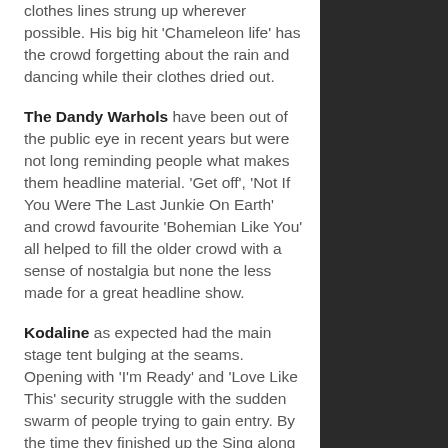clothes lines strung up wherever possible. His big hit 'Chameleon life' has the crowd forgetting about the rain and dancing while their clothes dried out.
The Dandy Warhols have been out of the public eye in recent years but were not long reminding people what makes them headline material. 'Get off', 'Not If You Were The Last Junkie On Earth' and crowd favourite 'Bohemian Like You' all helped to fill the older crowd with a sense of nostalgia but none the less made for a great headline show.
Kodaline as expected had the main stage tent bulging at the seams. Opening with 'I'm Ready' and 'Love Like This' security struggle with the sudden swarm of people trying to gain entry. By the time they finished up the Sing along to 'All I Want' could